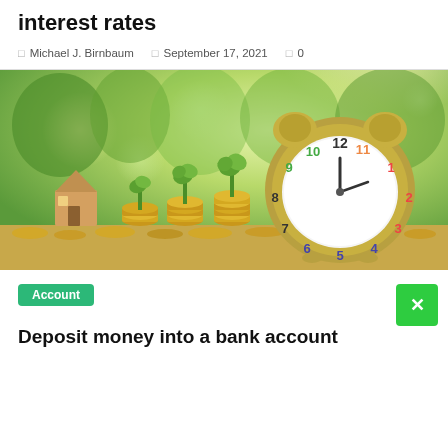interest rates
Michael J. Birnbaum   September 17, 2021   0
[Figure (photo): Photo of stacked coins with small green plants growing from them, a wooden house figurine, and a gold alarm clock with colorful numbers, set against a blurred green background. Represents savings, banking, and interest rates.]
Account
Deposit money into a bank account